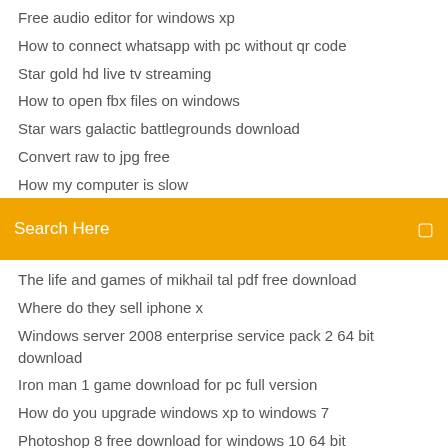Free audio editor for windows xp
How to connect whatsapp with pc without qr code
Star gold hd live tv streaming
How to open fbx files on windows
Star wars galactic battlegrounds download
Convert raw to jpg free
How my computer is slow
Search Here
The life and games of mikhail tal pdf free download
Where do they sell iphone x
Windows server 2008 enterprise service pack 2 64 bit download
Iron man 1 game download for pc full version
How do you upgrade windows xp to windows 7
Photoshop 8 free download for windows 10 64 bit
Como arreglar el teclado de mi laptop windows 10
How to make friendship bracelet step by step
How much is xbox live gold for a year uk